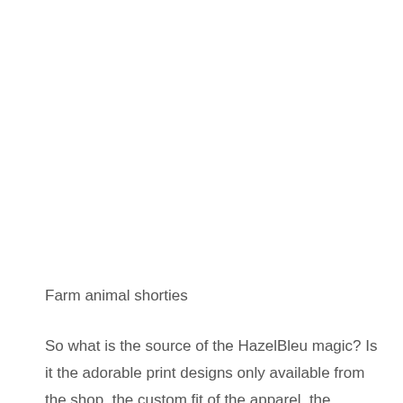Farm animal shorties
So what is the source of the HazelBleu magic? Is it the adorable print designs only available from the shop, the custom fit of the apparel, the adrenaline rush of